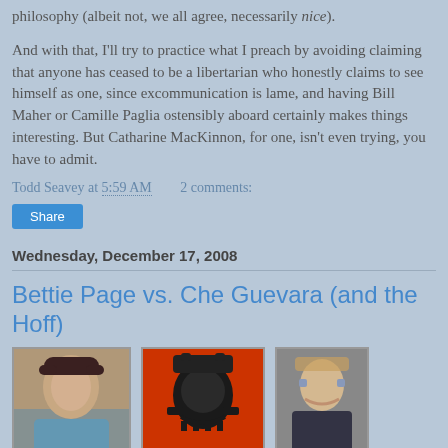philosophy (albeit not, we all agree, necessarily nice).
And with that, I'll try to practice what I preach by avoiding claiming that anyone has ceased to be a libertarian who honestly claims to see himself as one, since excommunication is lame, and having Bill Maher or Camille Paglia ostensibly aboard certainly makes things interesting. But Catharine MacKinnon, for one, isn't even trying, you have to admit.
Todd Seavey at 5:59 AM    2 comments:
Share
Wednesday, December 17, 2008
Bettie Page vs. Che Guevara (and the Hoff)
[Figure (photo): Three photos side by side: Bettie Page (woman with dark hair), Che Guevara stylized skull image on red background, and David Hasselhoff]